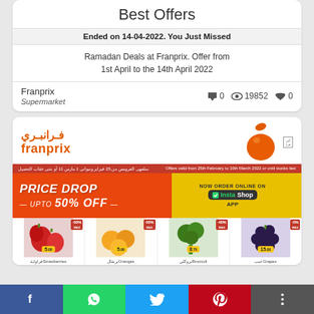Best Offers
Ended on 14-04-2022. You Just Missed
Ramadan Deals at Franprix. Offer from 1st April to the 14th April 2022
Franprix
Supermarket
0  19852  0
[Figure (screenshot): Franprix supermarket catalog cover showing PRICE DROP UPTO 50% OFF with InstaShop ordering option and fruit/vegetable products]
Share buttons: Facebook, WhatsApp, Twitter, Pinterest, More